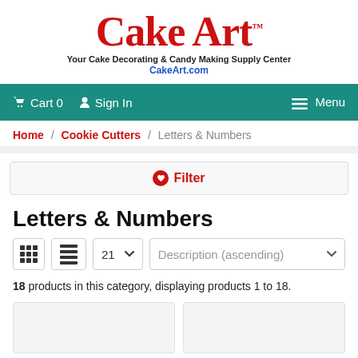[Figure (logo): Cake Art logo with red cursive text, tagline 'Your Cake Decorating & Candy Making Supply Center' and 'CakeArt.com' in blue]
Cart 0  Sign In  Menu
Home / Cookie Cutters / Letters & Numbers
Filter
Letters & Numbers
21  Description (ascending)
18 products in this category, displaying products 1 to 18.